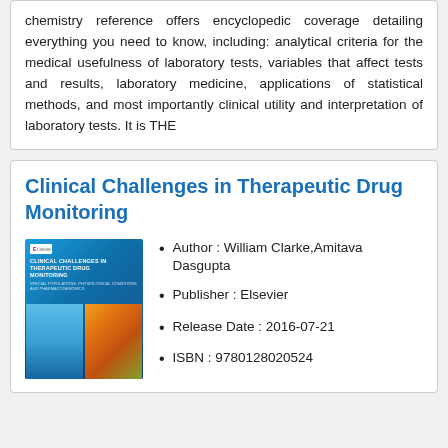chemistry reference offers encyclopedic coverage detailing everything you need to know, including: analytical criteria for the medical usefulness of laboratory tests, variables that affect tests and results, laboratory medicine, applications of statistical methods, and most importantly clinical utility and interpretation of laboratory tests. It is THE
Clinical Challenges in Therapeutic Drug Monitoring
[Figure (illustration): Book cover of 'Clinical Challenges in Therapeutic Drug Monitoring' with blue background, title text, and photographic images of laboratory equipment and colorful bar charts at the bottom.]
Author : William Clarke,Amitava Dasgupta
Publisher : Elsevier
Release Date : 2016-07-21
ISBN : 9780128020524